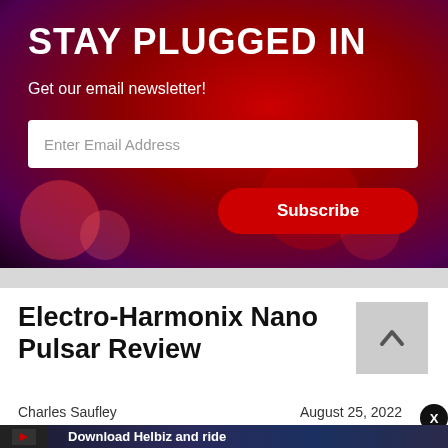STAY PLUGGED IN
Get our email newsletter!
Enter Email Address
Subscribe
Electro-Harmonix Nano Pulsar Review
Charles Saufley
August 25, 2022
[Figure (screenshot): Advertisement banner: Download Helbiz and ride, showing a bicycle handlebar image]
Download Helbiz and ride